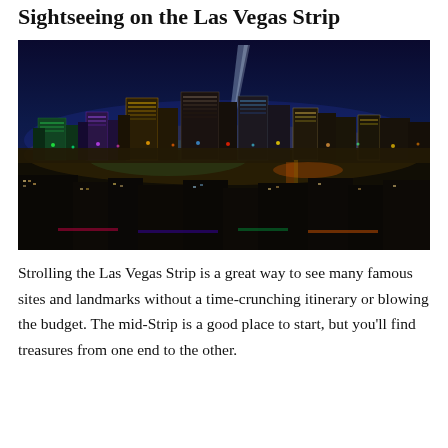Sightseeing on the Las Vegas Strip
[Figure (photo): Aerial night photograph of the Las Vegas Strip showing illuminated casino hotels, colorful lights, and city skyline against a dark blue sky]
Strolling the Las Vegas Strip is a great way to see many famous sites and landmarks without a time-crunching itinerary or blowing the budget. The mid-Strip is a good place to start, but you'll find treasures from one end to the other.